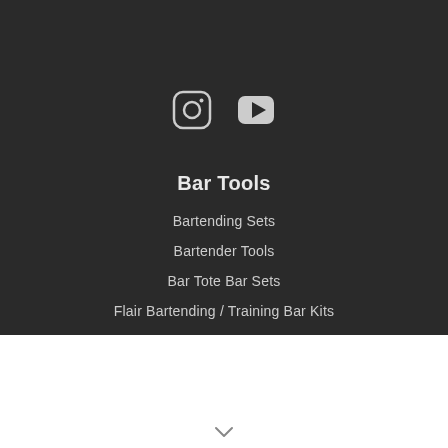[Figure (illustration): Social media icons: Instagram (circle with rounded square) and YouTube (play button in rounded rectangle), displayed in white/light gray on dark background]
Bar Tools
Bartending Sets
Bartender Tools
Bar Tote Bar Sets
Flair Bartending / Training Bar Kits
Home Bar & Gift Packages